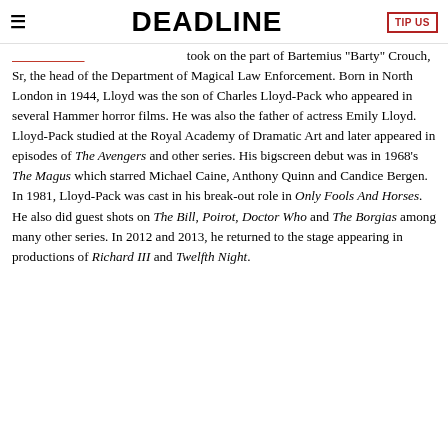DEADLINE
took on the part of Bartemius "Barty" Crouch, Sr, the head of the Department of Magical Law Enforcement. Born in North London in 1944, Lloyd was the son of Charles Lloyd-Pack who appeared in several Hammer horror films. He was also the father of actress Emily Lloyd. Lloyd-Pack studied at the Royal Academy of Dramatic Art and later appeared in episodes of The Avengers and other series. His bigscreen debut was in 1968's The Magus which starred Michael Caine, Anthony Quinn and Candice Bergen. In 1981, Lloyd-Pack was cast in his break-out role in Only Fools And Horses. He also did guest shots on The Bill, Poirot, Doctor Who and The Borgias among many other series. In 2012 and 2013, he returned to the stage appearing in productions of Richard III and Twelfth Night.